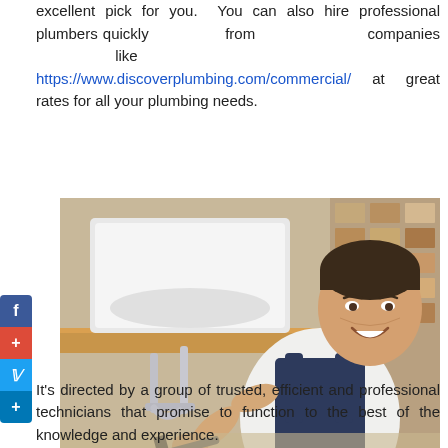excellent pick for you. You can also hire professional plumbers quickly from companies like https://www.discoverplumbing.com/commercial/ at great rates for all your plumbing needs.
[Figure (photo): A smiling male plumber in navy overalls and white t-shirt working under a bathroom sink, using a wrench on chrome plumbing pipes, sitting on the floor next to a toolbox.]
It's directed by a group of trusted, efficient and professional technicians that promise to function to the best of the knowledge and experience.